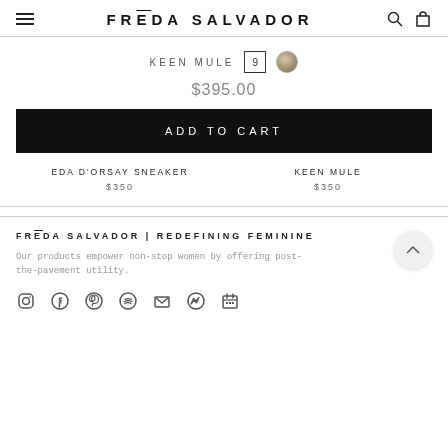FRĒDA SALVADOR
KEEN MULE  9  [color swatch]
$395.00
ADD TO CART
EDA D'ORSAY SNEAKER  $350
KEEN MULE  $350
FRĒDA SALVADOR | REDEFINING FEMININE
Our products empower non-stop women by offering post-the-pavement utility.